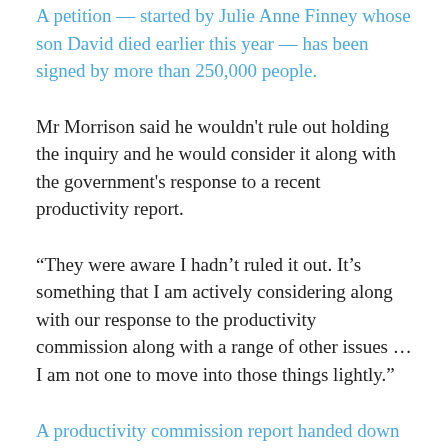A petition — started by Julie Anne Finney whose son David died earlier this year — has been signed by more than 250,000 people.
Mr Morrison said he wouldn't rule out holding the inquiry and he would consider it along with the government's response to a recent productivity report.
“They were aware I hadn’t ruled it out. It’s something that I am actively considering along with our response to the productivity commission along with a range of other issues … I am not one to move into those things lightly.”
A productivity commission report handed down in July called for a “fundamental reform” of Australia’s